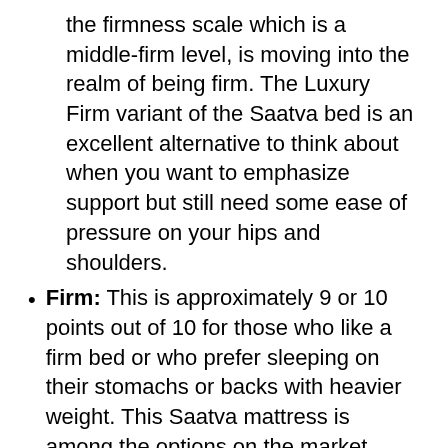the firmness scale which is a middle-firm level, is moving into the realm of being firm. The Luxury Firm variant of the Saatva bed is an excellent alternative to think about when you want to emphasize support but still need some ease of pressure on your hips and shoulders.
Firm: This is approximately 9 or 10 points out of 10 for those who like a firm bed or who prefer sleeping on their stomachs or backs with heavier weight. This Saatva mattress is among the options on the market which offers the best degree of support, and is the most comfortable. This mattress seems a bit oversized to me, but I'm sure certain kinds of sleepers will find